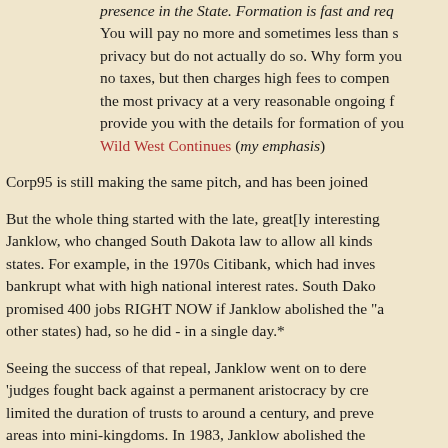presence in the State. Formation is fast and req... You will pay no more and sometimes less than s... privacy but do not actually do so. Why form you... no taxes, but then charges high fees to compen... the most privacy at a very reasonable ongoing f... provide you with the details for formation of you... Wild West Continues (my emphasis)
Corp95 is still making the same pitch, and has been joined...
But the whole thing started with the late, great[ly interesting... Janklow, who changed South Dakota law to allow all kinds... states. For example, in the 1970s Citibank, which had inves... bankrupt what with high national interest rates. South Dako... promised 400 jobs RIGHT NOW if Janklow abolished the "a... other states) had, so he did - in a single day.*
Seeing the success of that repeal, Janklow went on to dere... 'judges fought back against a permanent aristocracy by cre... limited the duration of trusts to around a century, and preve... areas into mini-kingdoms. In 1983, Janklow abolished the...